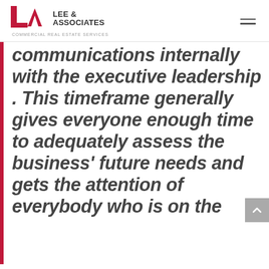LEE & ASSOCIATES COMMERCIAL REAL ESTATE SERVICES
communications internally with the executive leadership . This timeframe generally gives everyone enough time to adequately assess the business' future needs and gets the attention of everybody who is on the